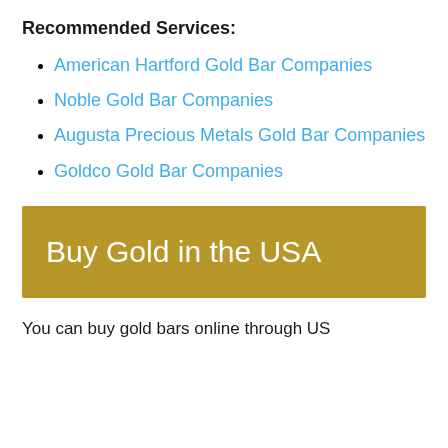Recommended Services:
American Hartford Gold Bar Companies
Noble Gold Bar Companies
Augusta Precious Metals Gold Bar Companies
Goldco Gold Bar Companies
[Figure (other): Gold banner with text 'Buy Gold in the USA' on a golden/dark yellow background]
You can buy gold bars online through US